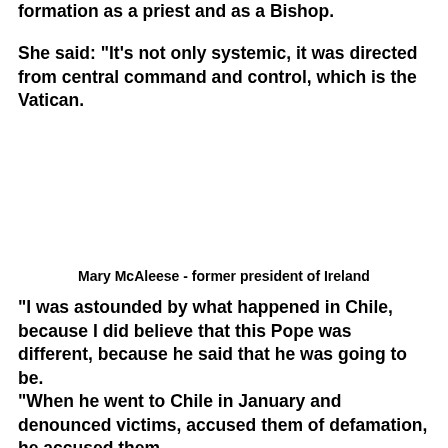formation as a priest and as a Bishop.
She said: "It's not only systemic, it was directed from central command and control, which is the Vatican.
Mary McAleese - former president of Ireland
"I was astounded by what happened in Chile, because I did believe that this Pope was different, because he said that he was going to be.
"When he went to Chile in January and denounced victims, accused them of defamation, he accused them